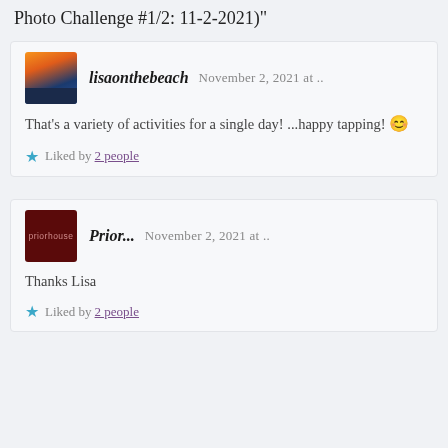Photo Challenge #1/2: 11-2-2021)"
lisaonthebeach   November 2, 2021 at ..
That's a variety of activities for a single day! ...happy tapping! 😊
Liked by 2 people
Prior...   November 2, 2021 at ..
Thanks Lisa
Liked by 2 people